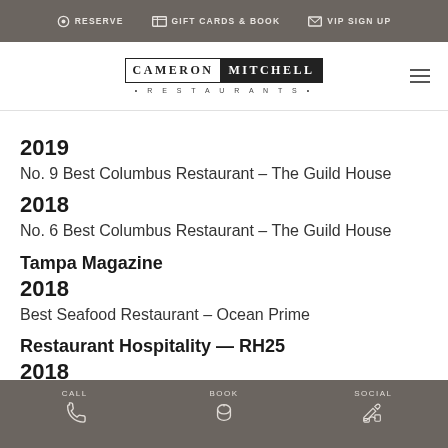RESERVE  GIFT CARDS & BOOK  VIP SIGN UP
[Figure (logo): Cameron Mitchell Restaurants logo — CAMERON in serif outline box, MITCHELL in white on black, subtitle RESTAURANTS below]
2019
No. 9 Best Columbus Restaurant – The Guild House
2018
No. 6 Best Columbus Restaurant – The Guild House
Tampa Magazine
2018
Best Seafood Restaurant – Ocean Prime
Restaurant Hospitality — RH25
2018
CALL  BOOK  SOCIAL